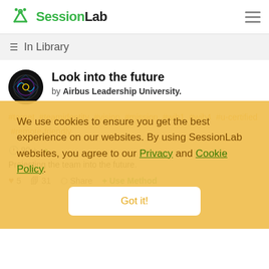SessionLab
In Library
Look into the future
by Airbus Leadership University.
#target #teamidentity #vision #mission #wib1 #wib4 #u-certified #remote-friendly
90 +
Projecting the team into the future.
5  31  Share  + Use Method
We use cookies to ensure you get the best experience on our websites. By using SessionLab websites, you agree to our Privacy and Cookie Policy.
Got it!